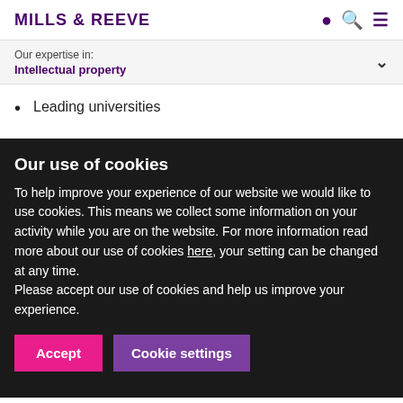MILLS & REEVE
Our expertise in: Intellectual property
Leading universities
A well-known fashion brand
A luxury car manufacturer
A sports manufacturer
Our use of cookies
To help improve your experience of our website we would like to use cookies. This means we collect some information on your activity while you are on the website. For more information read more about our use of cookies here, your setting can be changed at any time.
Please accept our use of cookies and help us improve your experience.
Leaders
0344 880 2606